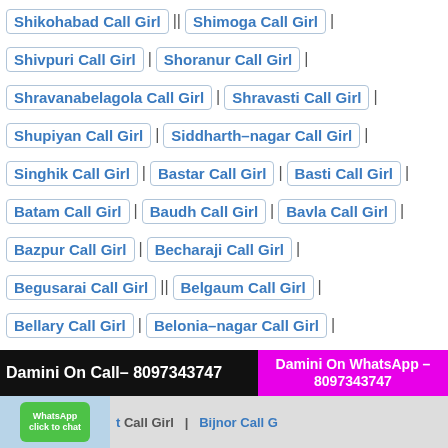Shikohabad Call Girl | Shimoga Call Girl |
Shivpuri Call Girl | Shoranur Call Girl |
Shravanabelagola Call Girl | Shravasti Call Girl |
Shupiyan Call Girl | Siddharth-nagar Call Girl |
Singhik Call Girl | Bastar Call Girl | Basti Call Girl |
Batam Call Girl | Baudh Call Girl | Bavla Call Girl |
Bazpur Call Girl | Becharaji Call Girl |
Begusarai Call Girl | Belgaum Call Girl |
Bellary Call Girl | Belonia-nagar Call Girl |
Belur Call Girl | Bettiah Call Girl | Betul Call Girl |
Bhadohi Call Girl | Bhadravati Call Girl |
Bhagalpur Call Girl | Bhatkal Call Girl |
Bhimtal Call Girl | Bhind Call Girl | Bhiwani Call Girl |
Bhojpur Call Girl | Bhojudih Call Girl | Bhowali Call Girl
Damini On Call– 8097343747
Damini On WhatsApp – 8097343747